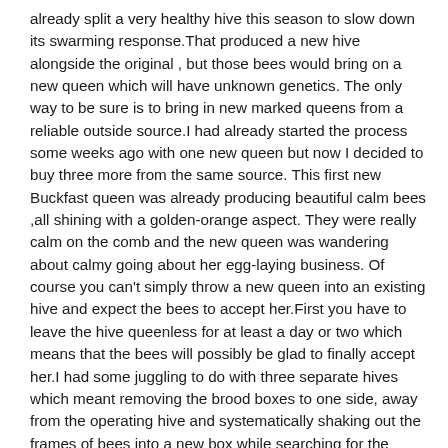already split a very healthy hive this season to slow down its swarming response.That produced a new hive alongside the original , but those bees would bring on a new queen which will have unknown genetics. The only way to be sure is to bring in new marked queens from a reliable outside source.I had already started the process some weeks ago with one new queen but now I decided to buy three more from the same source. This first new Buckfast queen was already producing beautiful calm bees ,all shining with a golden-orange aspect. They were really calm on the comb and the new queen was wandering about calmy going about her egg-laying business. Of course you can't simply throw a new queen into an existing hive and expect the bees to accept her.First you have to leave the hive queenless for at least a day or two which means that the bees will possibly be glad to finally accept her.I had some juggling to do with three separate hives which meant removing the brood boxes to one side, away from the operating hive and systematically shaking out the frames of bees into a new box while searching for the queens. .The first hive was easily the angriest and the bees attacked immediately when I began.It